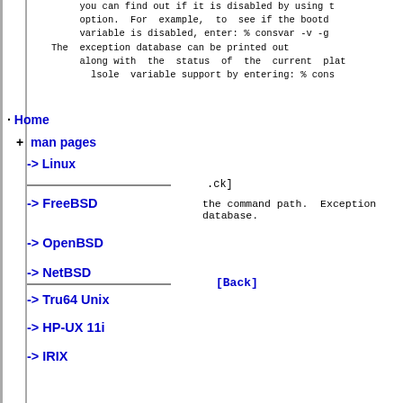you can find out if it is disabled by using t option. For example, to see if the bootd variable is disabled, enter: % consvar -v -g The exception database can be printed out along with the status of the current plat Isole variable support by entering: % cons
Home
+ man pages
-> Linux
.ck]
-> FreeBSD
the command path. Exception database.
-> OpenBSD
-> NetBSD
[Back]
-> Tru64 Unix
-> HP-UX 11i
-> IRIX
Linux HOWTOs
getsysinfo(2), setsysinfo(2)
FreeBSD Tips
*niX Forums
consv
[ Back ]
| Name | OS | Title |
| --- | --- | --- |
| fwupgrade | Tru64 | Updates the system firmware from a loadable fi |
| printenv | Tru64 | Displays or sets the current environment, or di |